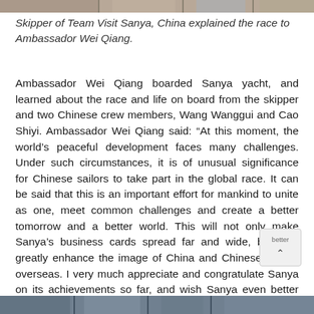[Figure (photo): Partial photo strip at top of page]
Skipper of Team Visit Sanya, China explained the race to Ambassador Wei Qiang.
Ambassador Wei Qiang boarded Sanya yacht, and learned about the race and life on board from the skipper and two Chinese crew members, Wang Wanggui and Cao Shiyi. Ambassador Wei Qiang said: “At this moment, the world’s peaceful development faces many challenges. Under such circumstances, it is of unusual significance for Chinese sailors to take part in the global race. It can be said that this is an important effort for mankind to unite as one, meet common challenges and create a better tomorrow and a better world. This will not only make Sanya’s business cards spread far and wide, but also greatly enhance the image of China and Chinese people overseas. I very much appreciate and congratulate Sanya on its achievements so far, and wish Sanya even better achievements in the future.”
[Figure (photo): Partial photo strip at bottom of page]